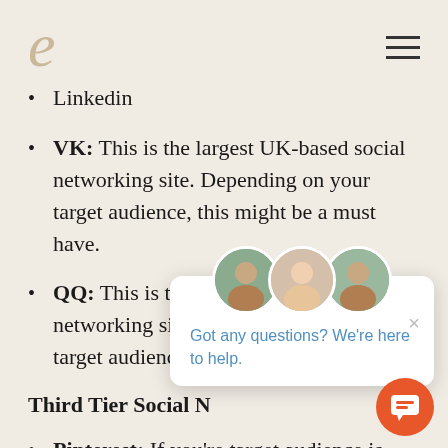e
Linkedin
VK: This is the largest UK-based social networking site. Depending on your target audience, this might be a must have.
QQ: This is the largest Asia-based social networking site. Depending on your target audience, this mi
Third Tier Social N
Pinterest: If you’re target audience is focused on decorating or DIY, Pinterest great alternative. However, it’s not for
[Figure (screenshot): Chat support popup with avatars and text 'Got any questions? We’re here to help.' with a close button and orange chat button]